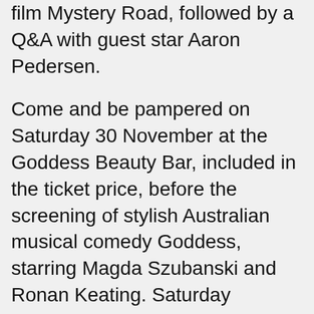film Mystery Road, followed by a Q&A with guest star Aaron Pedersen.
Come and be pampered on Saturday 30 November at the Goddess Beauty Bar, included in the ticket price, before the screening of stylish Australian musical comedy Goddess, starring Magda Szubanski and Ronan Keating. Saturday afternoon is all about cars and stars, when Eric Bana's film Love the Beast charges onto the big screen, with a special line-up of cars from Broken Hill Vintage and Veteran Car Club as part of the fun.
Sunday 1 December includes family-friendly film Return to Nim's Island, starring Bindi Irwin and a community fundraiser screening of Satellite Boy with proceeds to aid Red Cross...